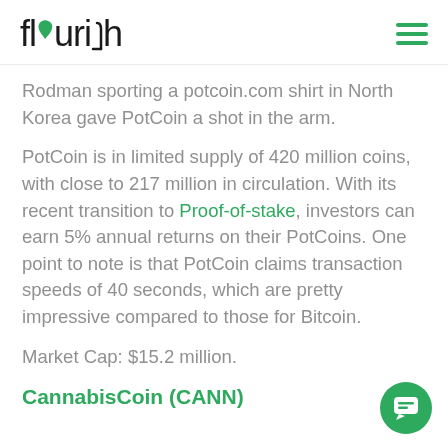Flourish
Rodman sporting a potcoin.com shirt in North Korea gave PotCoin a shot in the arm.
PotCoin is in limited supply of 420 million coins, with close to 217 million in circulation. With its recent transition to Proof-of-stake, investors can earn 5% annual returns on their PotCoins. One point to note is that PotCoin claims transaction speeds of 40 seconds, which are pretty impressive compared to those for Bitcoin.
Market Cap: $15.2 million.
CannabisCoin (CANN)